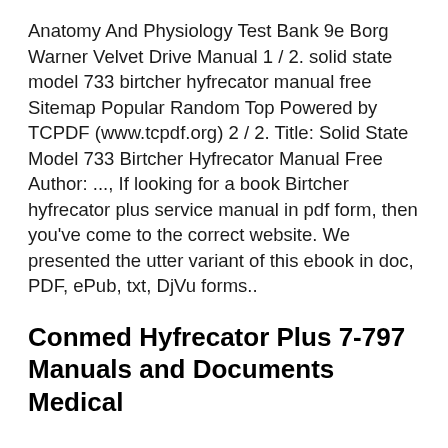Anatomy And Physiology Test Bank 9e Borg Warner Velvet Drive Manual 1 / 2. solid state model 733 birtcher hyfrecator manual free Sitemap Popular Random Top Powered by TCPDF (www.tcpdf.org) 2 / 2. Title: Solid State Model 733 Birtcher Hyfrecator Manual Free Author: ..., If looking for a book Birtcher hyfrecator plus service manual in pdf form, then you've come to the correct website. We presented the utter variant of this ebook in doc, PDF, ePub, txt, DjVu forms..
Conmed Hyfrecator Plus 7-797 Manuals and Documents Medical